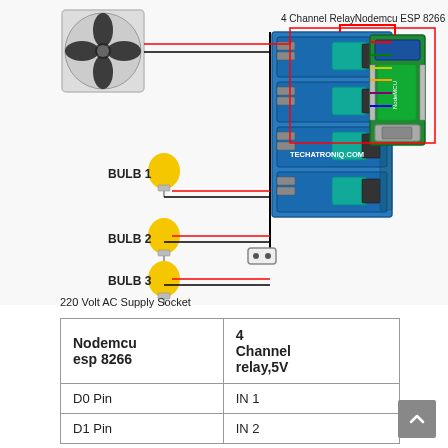[Figure (schematic): Wiring diagram showing a 4-channel relay module connected to a Nodemcu ESP8266, three light bulbs (BULB 1, BULB 2, BULB 3), a fan motor, and a 220 Volt AC Supply Socket. Colored wires connect the relay inputs to the ESP8266 GPIO pins. The relay module is labeled TECHATRONIQ.COM.]
220 Volt AC Supply Socket
| Nodemcu esp 8266 | 4 Channel relay,5V |
| --- | --- |
| D0 Pin | IN 1 |
| D1 Pin | IN 2 |